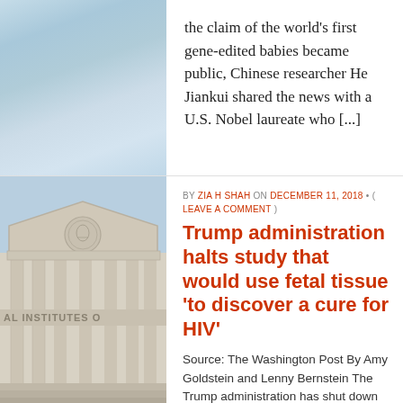the claim of the world's first gene-edited babies became public, Chinese researcher He Jiankui shared the news with a U.S. Nobel laureate who [...]
[Figure (photo): Exterior of a neoclassical government building, showing columns and a pediment with a circular seal, and the text 'AL INSTITUTES O' visible on the facade — the National Institutes of Health.]
BY ZIA H SHAH ON DECEMBER 11, 2018 • ( LEAVE A COMMENT )
Trump administration halts study that would use fetal tissue 'to discover a cure for HIV'
Source: The Washington Post By Amy Goldstein and Lenny Bernstein The Trump administration has shut down at least one government-run study that uses fetal tissue implanted into mice even before federal health [...]